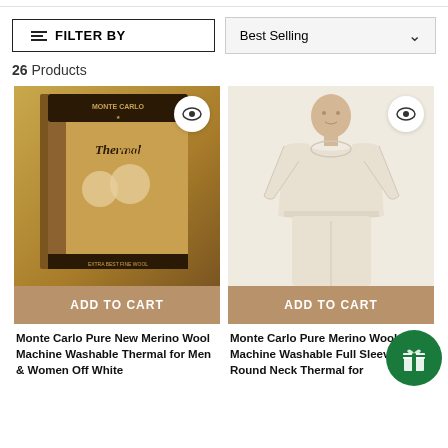26 Products
[Figure (photo): Monte Carlo ThermalWear product box with gold packaging showing a couple in white thermal wear]
ADD TO CART
Monte Carlo Pure New Merino Wool Machine Washable Thermal for Men & Women Off White
[Figure (photo): Man wearing off-white long sleeve round neck thermal top and bottoms]
ADD TO CART
Monte Carlo Pure Merino Wool Machine Washable Full Sleeves Round Neck Thermal for